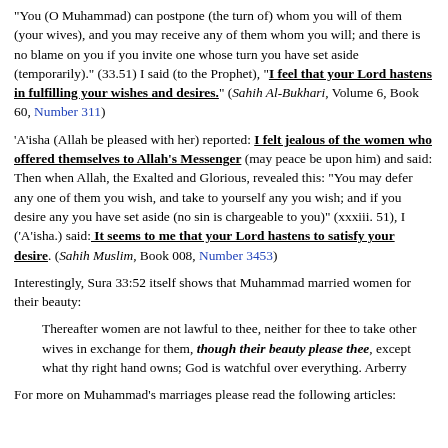"You (O Muhammad) can postpone (the turn of) whom you will of them (your wives), and you may receive any of them whom you will; and there is no blame on you if you invite one whose turn you have set aside (temporarily)." (33.51) I said (to the Prophet), "I feel that your Lord hastens in fulfilling your wishes and desires." (Sahih Al-Bukhari, Volume 6, Book 60, Number 311)
'A'isha (Allah be pleased with her) reported: I felt jealous of the women who offered themselves to Allah's Messenger (may peace be upon him) and said: Then when Allah, the Exalted and Glorious, revealed this: "You may defer any one of them you wish, and take to yourself any you wish; and if you desire any you have set aside (no sin is chargeable to you)" (xxxiii. 51), I ('A'isha.) said: It seems to me that your Lord hastens to satisfy your desire. (Sahih Muslim, Book 008, Number 3453)
Interestingly, Sura 33:52 itself shows that Muhammad married women for their beauty:
Thereafter women are not lawful to thee, neither for thee to take other wives in exchange for them, though their beauty please thee, except what thy right hand owns; God is watchful over everything. Arberry
For more on Muhammad's marriages please read the following articles: